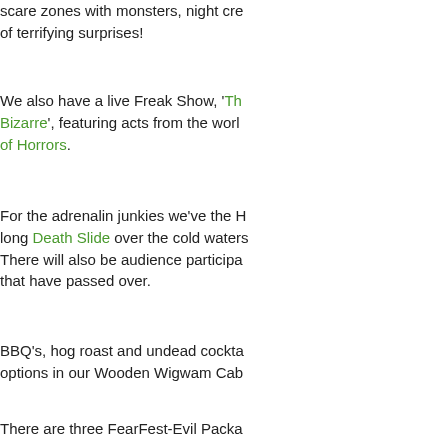scare zones with monsters, night creatures and plenty of terrifying surprises!
We also have a live Freak Show, 'The Twisted and Bizarre', featuring acts from the world... of Horrors.
For the adrenalin junkies we've the H... long Death Slide over the cold waters... There will also be audience participation... that have passed over.
BBQ's, hog roast and undead cocktails... options in our Wooden Wigwam Cab...
There are three FearFest-Evil Packa...
Live Show Only
Standard Scare Package
Premium Extreme Package
FearFest-Evil is strictly for ages 16...
Follow FearFest-E...
Website & Tickets: http://www.fearfes...